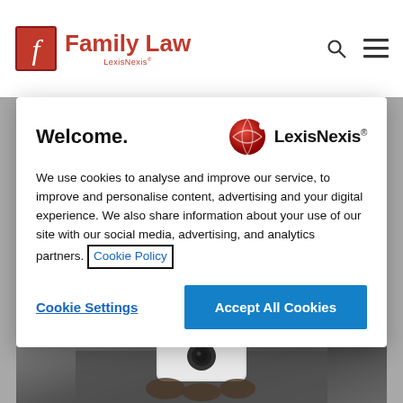[Figure (screenshot): Family Law LexisNexis website header with logo showing stylized 'f' in red square, 'Family Law' in red bold text, 'LexisNexis' subtitle, search icon and hamburger menu icons on the right]
Welcome.
[Figure (logo): LexisNexis logo with red globe/sphere icon and 'LexisNexis' text with registered trademark symbol]
We use cookies to analyse and improve our service, to improve and personalise content, advertising and your digital experience. We also share information about your use of our site with our social media, advertising, and analytics partners. Cookie Policy
Cookie Settings
Accept All Cookies
Date:   4 DEC 2018
[Figure (photo): Close-up photo of a small security camera or webcam held in a hand against a light background]